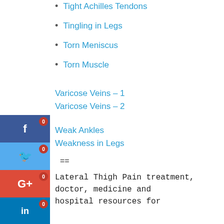Tight Achilles Tendons
Tingling in Legs
Torn Meniscus
Torn Muscle
Varicose Veins – 1
Varicose Veins – 2
Weak Ankles
Weakness in Legs
==
Lateral Thigh Pain treatment, doctor, medicine and hospital resources for